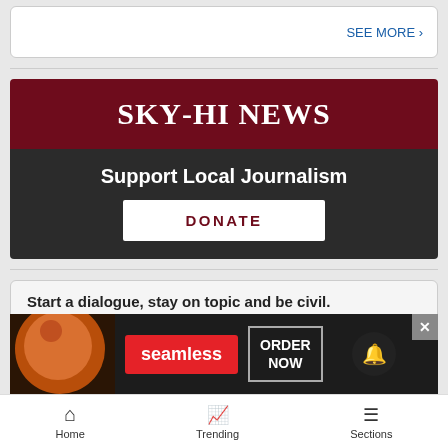SEE MORE >
[Figure (logo): Sky-Hi News logo banner with dark red background and white serif text reading SKY-HI NEWS, with Support Local Journalism subtitle and DONATE button below on dark background]
Start a dialogue, stay on topic and be civil.
If ...
[Figure (screenshot): Seamless food delivery advertisement with pizza image, red Seamless logo button, and ORDER NOW button on dark background]
Home   Trending   Sections